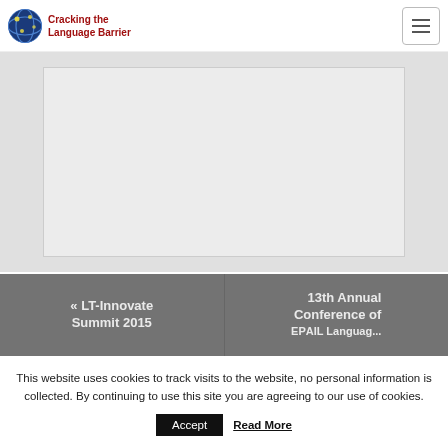Cracking the Language Barrier
[Figure (screenshot): Embedded video or image placeholder — light gray rectangle with slightly darker border on a light gray background]
« LT-Innovate Summit 2015
13th Annual Conference of EРАIL Language...
This website uses cookies to track visits to the website, no personal information is collected. By continuing to use this site you are agreeing to our use of cookies.